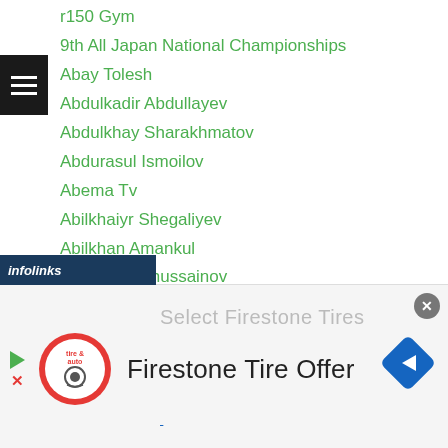r150 Gym
9th All Japan National Championships
Abay Tolesh
Abdulkadir Abdullayev
Abdulkhay Sharakhmatov
Abdurasul Ismoilov
Abema Tv
Abilkhaiyr Shegaliyev
Abilkhan Amankul
Ablaikhan Khussainov
Ablaikhan Zhussupov
Abner Mares
ABS CBN
Accel Sumiyoshi
Adam Diu Abdulhamid
Adilbek Niyazymbetov
[Figure (infographic): Firestone Tire Offer advertisement banner with infolinks overlay, close button, play/stop controls, tire auto logo, and diamond-shaped arrow icon]